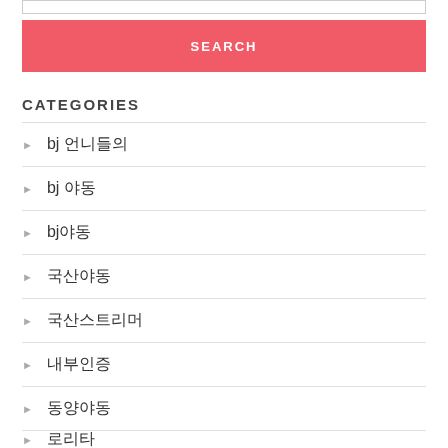SEARCH
CATEGORIES
bj 언니들의
bj 야동
bj야동
국산야동
국산스트리머
내부인증
동양야동
로리타